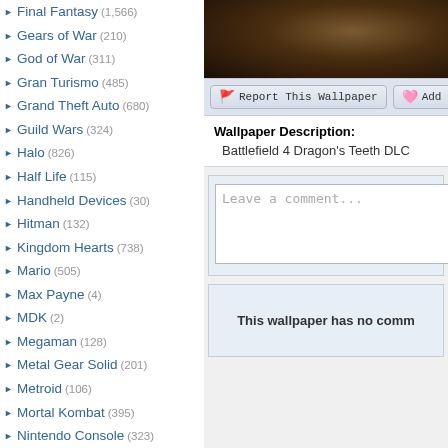Final Fantasy (1,566)
Gears of War (210)
God of War (311)
Gran Turismo (485)
Grand Theft Auto (680)
Guild Wars (324)
Halo (826)
Half Life (115)
Handheld Devices (30)
Hitman (132)
Kingdom Hearts (738)
Mario (505)
Max Payne (4)
MDK (2)
Megaman (128)
Metal Gear Solid (201)
Metroid (106)
Mortal Kombat (395)
Nintendo Console (323)
Parasite Eve (47)
Playstation Console (265)
Pokemon (Link)
Quake (18)
Ragnarok Online (98)
Resident Evil (472)
Sonic (420)
Soul Calibur (258)
Starcraft (142)
Star Wars (284)
[Figure (photo): Dark fantasy game wallpaper thumbnail (Battlefield 4 Dragon's Teeth DLC)]
Report This Wallpaper   Add To F
Wallpaper Description:
Battlefield 4 Dragon's Teeth DLC
Leave a comment...
This wallpaper has no comm